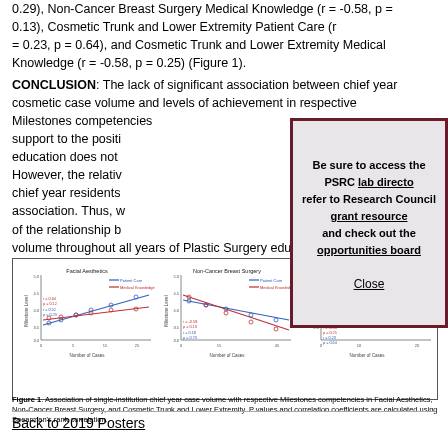0.29), Non-Cancer Breast Surgery Medical Knowledge (r = -0.58, p = 0.13), Cosmetic Trunk and Lower Extremity Patient Care (r = 0.23, p = 0.64), and Cosmetic Trunk and Lower Extremity Medical Knowledge (r = -0.58, p = 0.25) (Figure 1). CONCLUSION: The lack of significant association between chief year cosmetic case volume and levels of achievement in respective Milestones competencies support to the position that cosmetic surgical education does not ... However, the relationship between chief year residents association. Thus, we believe ... of the relationship between case volume throughout all years of Plastic Surgery education.
[Figure (infographic): Modal popup overlay: 'Be sure to access the PSRC lab directory, refer to Research Council grant resources, and check out the opportunities board'. With a Close button.]
[Figure (line-chart): Three scatter plots with trend lines showing Patient Care and Medical Knowledge vs Number of Cases for Facial Aesthetics, Non-Cancer Breast Surgery, and Cosmetic Trunk and Lower Extremity.]
Figure 1. Association of single-institution chief year case volume with respective Milestones competencies in Facial Aesthetics, Non-Cancer Breast Surgery, and Cosmetic Trunk and Lower Extremity. P values and correlation coefficients are calculated using Spearman's rank correlation.
Back to 2019 Posters